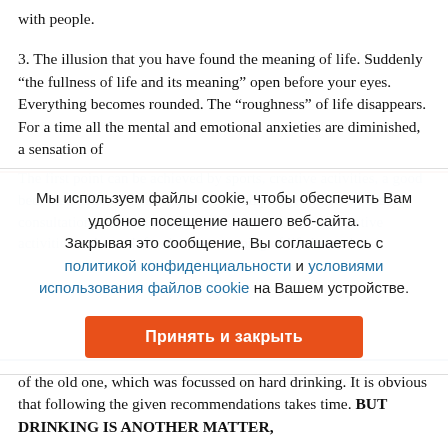with people.
3. The illusion that you have found the meaning of life. Suddenly “the fullness of life and its meaning” open before your eyes. Everything becomes rounded. The “roughness” of life disappears. For a time all the mental and emotional anxieties are diminished, a sensation of
Мы используем файлы cookie, чтобы обеспечить Вам удобное посещение нашего веб-сайта. Закрывая это сообщение, Вы соглашаетесь с политикой конфиденциальности и условиями использования файлов cookie на Вашем устройстве. Принять и закрыть
The first point can be achieved by sports, creative activities, a good bed, medication, sauna, etc. The second point is based on... The third point is based on enhancing creative activities and search for the new meaning of life instead
of the old one, which was focussed on hard drinking. It is obvious that following the given recommendations takes time. BUT DRINKING IS ANOTHER MATTER,